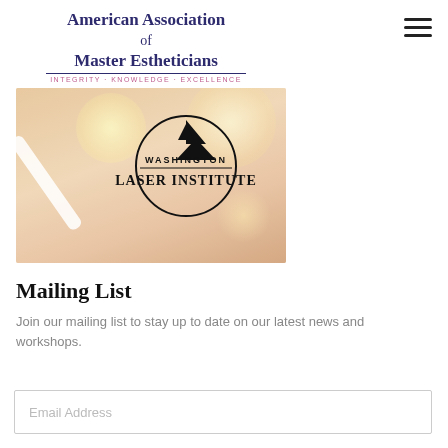[Figure (logo): American Association of Master Estheticians logo with tagline INTEGRITY · KNOWLEDGE · EXCELLENCE]
[Figure (photo): Photo of a woman receiving a facial treatment with a white device near her face; Washington Laser Institute logo overlay with mountain graphic and circular border]
Mailing List
Join our mailing list to stay up to date on our latest news and workshops.
Email Address